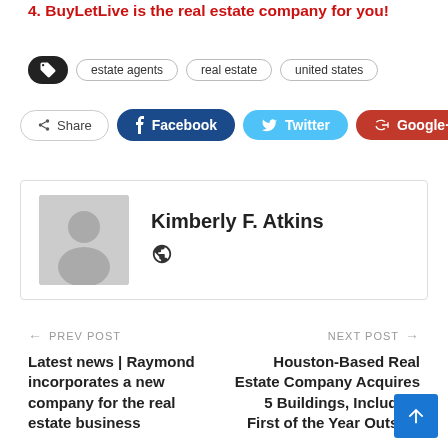4. BuyLetLive is the real estate company for you!
Tags: estate agents, real estate, united states
Share | Facebook | Twitter | Google+
Kimberly F. Atkins
← PREV POST
Latest news | Raymond incorporates a new company for the real estate business
NEXT POST →
Houston-Based Real Estate Company Acquires 5 Buildings, Including First of the Year Outside